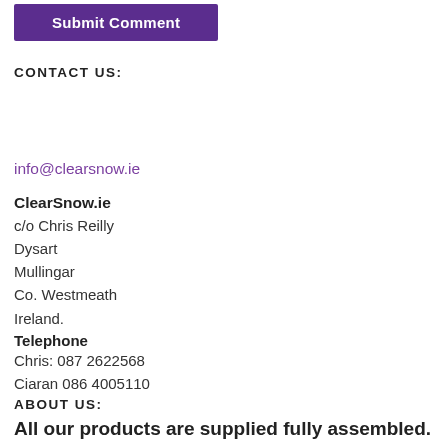[Figure (other): Purple 'Submit Comment' button]
CONTACT US:
info@clearsnow.ie
ClearSnow.ie
c/o Chris Reilly
Dysart
Mullingar
Co. Westmeath
Ireland.
Telephone
Chris: 087 2622568
Ciaran 086 4005110
ABOUT US:
All our products are supplied fully assembled.
Our prices are the keenest around.